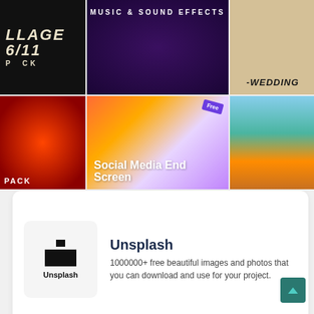[Figure (screenshot): Grid of media thumbnails: collage pack (top-left), music and sound effects DJ scene (top-center), wedding template (top-right), fire swirl animation pack (bottom-left), social media end screen template with Free badge (bottom-center), nature/landscape (bottom-right)]
[Figure (logo): Unsplash logo card with Unsplash icon and name]
Unsplash
1000000+ free beautiful images and photos that you can download and use for your project.